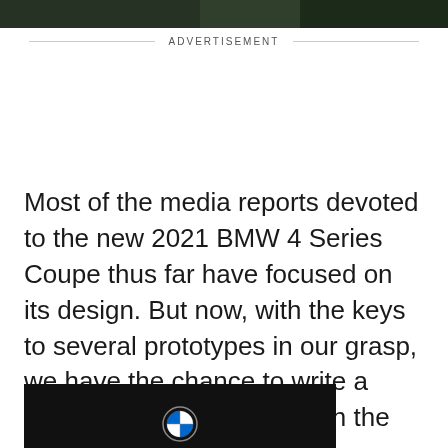[Figure (photo): Top edge of a dark nature/outdoor photo showing greenery and dark tones, cropped at top of page]
ADVERTISEMENT
Most of the media reports devoted to the new 2021 BMW 4 Series Coupe thus far have focused on its design. But now, with the keys to several prototypes in our grasp, we have the chance to write a preliminary driving report on the new car.
[Figure (photo): Bottom portion of a dark video thumbnail or photo with a BMW logo emblem visible at the bottom center]